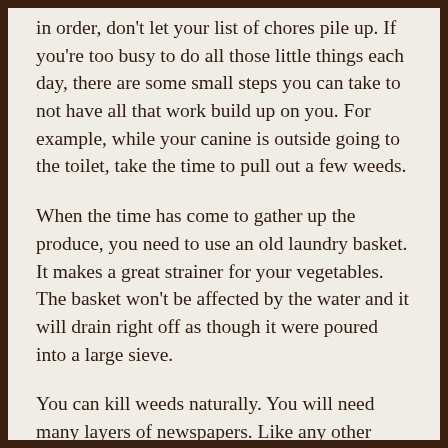in order, don't let your list of chores pile up. If you're too busy to do all those little things each day, there are some small steps you can take to not have all that work build up on you. For example, while your canine is outside going to the toilet, take the time to pull out a few weeds.
When the time has come to gather up the produce, you need to use an old laundry basket. It makes a great strainer for your vegetables. The basket won't be affected by the water and it will drain right off as though it were poured into a large sieve.
You can kill weeds naturally. You will need many layers of newspapers. Like any other plant, weeds need to be exposed to the sun. When you put newspaper over them, they suffocate from lack of sunlight. Newsprint also breaks down well, incorporating itself into the compost. To improve